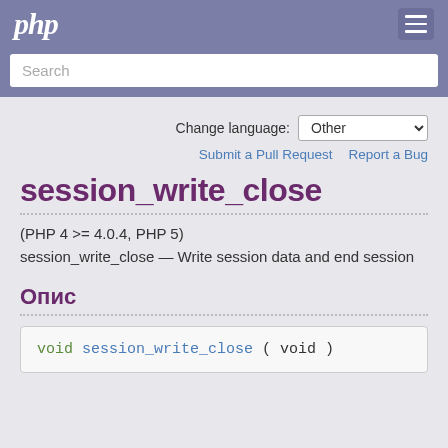php
Search
Change language: Other
Submit a Pull Request   Report a Bug
session_write_close
(PHP 4 >= 4.0.4, PHP 5)
session_write_close — Write session data and end session
Опис